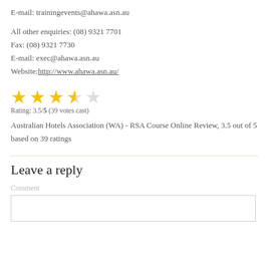E-mail: trainingevents@ahawa.asn.au
All other enquiries: (08) 9321 7701
Fax: (08) 9321 7730
E-mail: exec@ahawa.asn.au
Website: http://www.ahawa.asn.au/
[Figure (other): 3.5 out of 5 star rating display with 3 full yellow stars, 1 half yellow star, and 1 empty star]
Rating: 3.5/5 (39 votes cast)
Australian Hotels Association (WA) - RSA Course Online Review, 3.5 out of 5 based on 39 ratings
Leave a reply
Comment